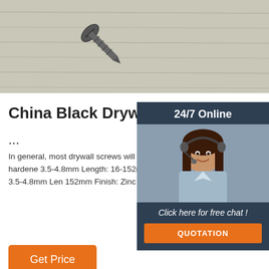[Figure (photo): Close-up photo of black and zinc-coated drywall screws on a light grey wooden surface]
China Black Drywall Screw 3.5*25 - China Screw, Dry
...
In general, most drywall screws will work for application Specifications Drywall screw Bug philips drive Material: Carbon steel, hardene 3.5-4.8mm Length: 16-152mm Drywall screw head philips drive. Fine & Coarse thread Ma Carbon steel, hardened DIA: 3.5-4.8mm Len 152mm Finish: Zinc or black/grey phosphate
[Figure (photo): 24/7 online chat widget with a smiling female customer service agent wearing a headset, dark blue background, 'Click here for free chat!' text, and orange QUOTATION button]
Get Price